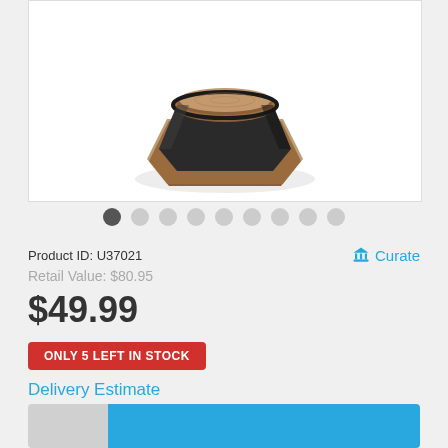[Figure (photo): A black octagonal coaster holder with wooden/copper coasters stacked inside, viewed from a slightly elevated angle on white background]
Product ID: U37021
Curate
Retail Value: $80.95
$49.99
ONLY 5 LEFT IN STOCK
Delivery Estimate